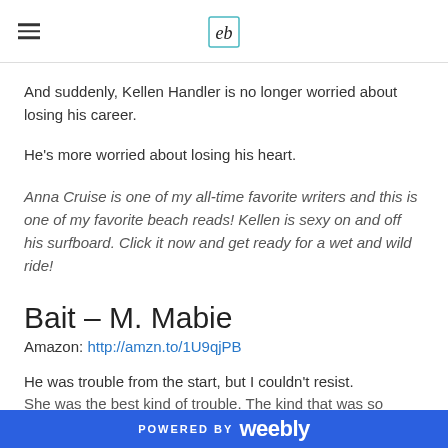[logo: eb monogram]
And suddenly, Kellen Handler is no longer worried about losing his career.
He's more worried about losing his heart.
Anna Cruise is one of my all-time favorite writers and this is one of my favorite beach reads! Kellen is sexy on and off his surfboard. Click it now and get ready for a wet and wild ride!
Bait – M. Mabie
Amazon: http://amzn.to/1U9qjPB
He was trouble from the start, but I couldn't resist.
She was the best kind of trouble. The kind that was so wrong, it
POWERED BY weebly